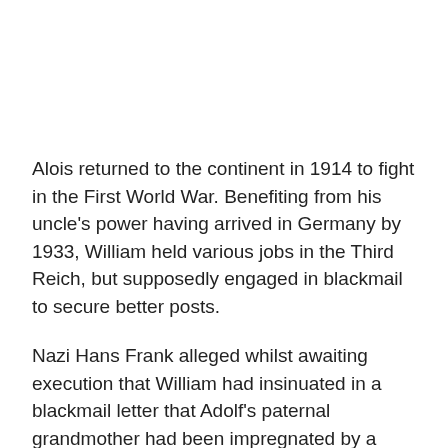Alois returned to the continent in 1914 to fight in the First World War. Benefiting from his uncle's power having arrived in Germany by 1933, William held various jobs in the Third Reich, but supposedly engaged in blackmail to secure better posts.
Nazi Hans Frank alleged whilst awaiting execution that William had insinuated in a blackmail letter that Adolf's paternal grandmother had been impregnated by a member of the Jewish household in which she had worked. Frank was tasked with investigating the Hitler family genealogy.